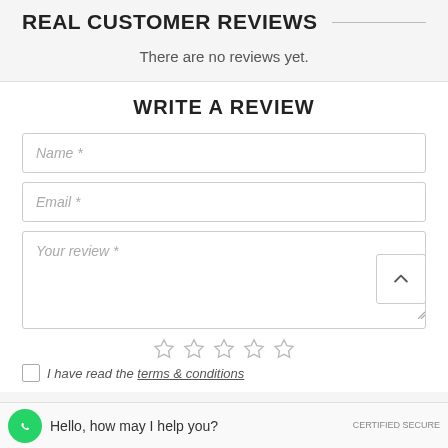REAL CUSTOMER REVIEWS
There are no reviews yet.
WRITE A REVIEW
Name *
Email *
Your review *
[Figure (other): Five empty star rating icons]
I have read the terms & conditions
[Figure (other): WhatsApp chat button with text: Hello, how may I help you?]
CERTIFIED SECURE